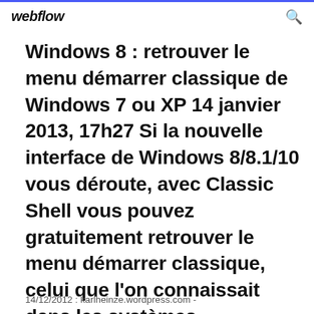webflow
Windows 8 : retrouver le menu démarrer classique de Windows 7 ou XP 14 janvier 2013, 17h27 Si la nouvelle interface de Windows 8/8.1/10 vous déroute, avec Classic Shell vous pouvez gratuitement retrouver le menu démarrer classique, celui que l'on connaissait dans les systèmes précédents comme Windows 7 ou Windows XP.
14/12/2012 : karlheinze.wordpress.com -